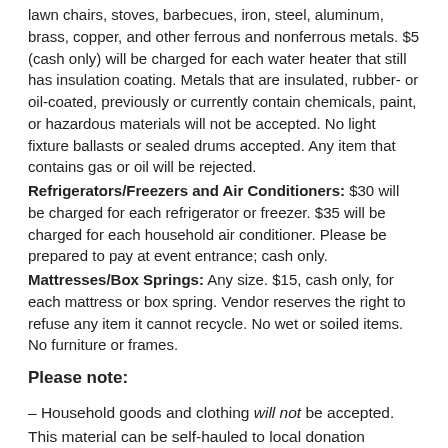lawn chairs, stoves, barbecues, iron, steel, aluminum, brass, copper, and other ferrous and nonferrous metals. $5 (cash only) will be charged for each water heater that still has insulation coating. Metals that are insulated, rubber- or oil-coated, previously or currently contain chemicals, paint, or hazardous materials will not be accepted. No light fixture ballasts or sealed drums accepted. Any item that contains gas or oil will be rejected.
Refrigerators/Freezers and Air Conditioners: $30 will be charged for each refrigerator or freezer. $35 will be charged for each household air conditioner. Please be prepared to pay at event entrance; cash only.
Mattresses/Box Springs: Any size. $15, cash only, for each mattress or box spring. Vendor reserves the right to refuse any item it cannot recycle. No wet or soiled items. No furniture or frames.
Please note:
– Household goods and clothing will not be accepted. This material can be self-hauled to local donation locations. Call first to confirm donation locations are open and accepting items.
– No flatbed or dump trucks allowed. We reserve the right